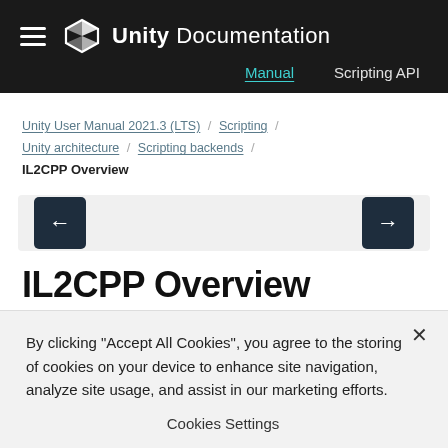Unity Documentation — Manual / Scripting API
Unity User Manual 2021.3 (LTS) / Scripting / Unity architecture / Scripting backends / IL2CPP Overview
[Figure (other): Navigation arrows bar with left and right arrow buttons on a light grey background]
IL2CPP Overview
By clicking "Accept All Cookies", you agree to the storing of cookies on your device to enhance site navigation, analyze site usage, and assist in our marketing efforts.
Cookies Settings